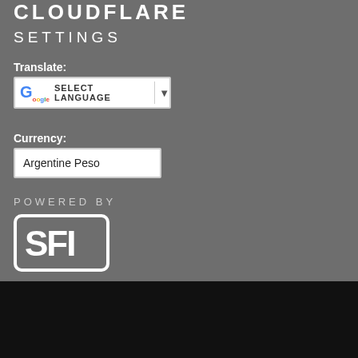CLOUDFLARE
SETTINGS
Translate:
[Figure (screenshot): Google Translate widget showing SELECT LANGUAGE dropdown with Google G logo and dropdown arrow]
Currency:
Argentine Peso
POWERED BY
[Figure (logo): SFI logo in white on dark background, block letters with rounded rectangle border]
Copyright © 2022, Carson Services, Inc.
Official TripleClicks time: Sep. 5, 2022 1:48:06 PM